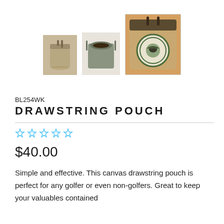[Figure (photo): Three product photos of a canvas drawstring pouch: small closed tan pouch, medium open olive-green pouch, and large tan pouch with emblem patch]
BL254WK
DRAWSTRING POUCH
[Figure (other): Five empty star rating icons in light blue/cyan outline]
$40.00
Simple and effective. This canvas drawstring pouch is perfect for any golfer or even non-golfers. Great to keep your valuables contained